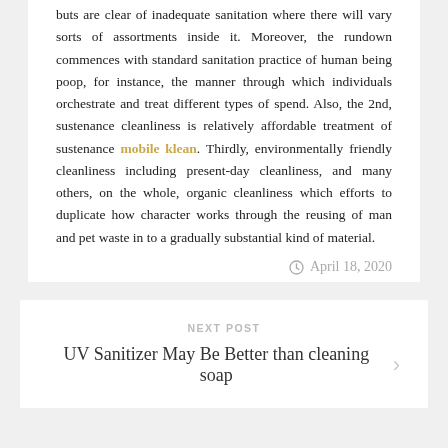buts are clear of inadequate sanitation where there will vary sorts of assortments inside it. Moreover, the rundown commences with standard sanitation practice of human being poop, for instance, the manner through which individuals orchestrate and treat different types of spend. Also, the 2nd, sustenance cleanliness is relatively affordable treatment of sustenance mobile klean. Thirdly, environmentally friendly cleanliness including present-day cleanliness, and many others, on the whole, organic cleanliness which efforts to duplicate how character works through the reusing of man and pet waste in to a gradually substantial kind of material.
April 18, 2020
NEXT POST
UV Sanitizer May Be Better than cleaning soap